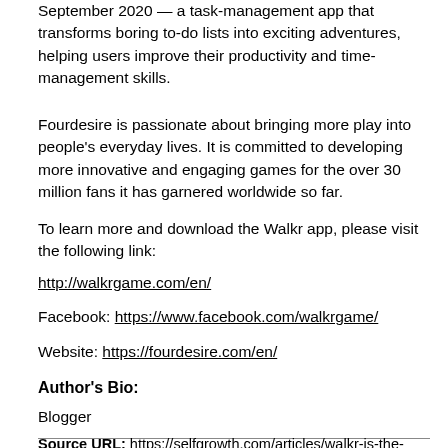September 2020 — a task-management app that transforms boring to-do lists into exciting adventures, helping users improve their productivity and time-management skills.
Fourdesire is passionate about bringing more play into people's everyday lives. It is committed to developing more innovative and engaging games for the over 30 million fans it has garnered worldwide so far.
To learn more and download the Walkr app, please visit the following link:
http://walkrgame.com/en/
Facebook: https://www.facebook.com/walkrgame/
Website: https://fourdesire.com/en/
Author's Bio:
Blogger
Source URL: https://selfgrowth.com/articles/walkr-is-the-cool-must-have-app-to-help-you-stay-fit-and-have-fun